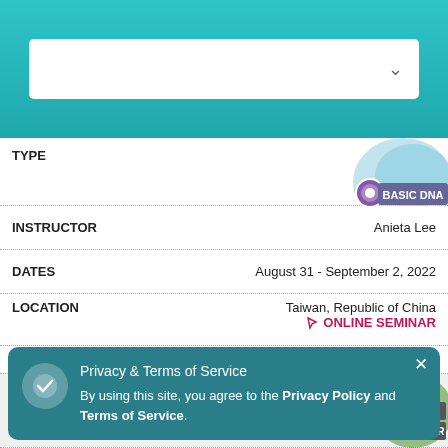[Figure (screenshot): Teal header with white search/dropdown box and chevron icon]
TYPE
[Figure (logo): Basic DNA badge with DNA helix graphic]
INSTRUCTOR    Anieta Lee
DATES    August 31 - September 2, 2022
LOCATION    Taiwan, Republic of China    ONLINE SEMINAR
Learn More
TYPE
[Figure (logo): Disease & Disorder badge with virus graphic]
INSTRUCTOR    ...anl...
DATES    ...022
LOCATION    Istanbul, Merkez Mahallesi
Privacy & Terms of Service
By using this site, you agree to the Privacy Policy and Terms of Service.